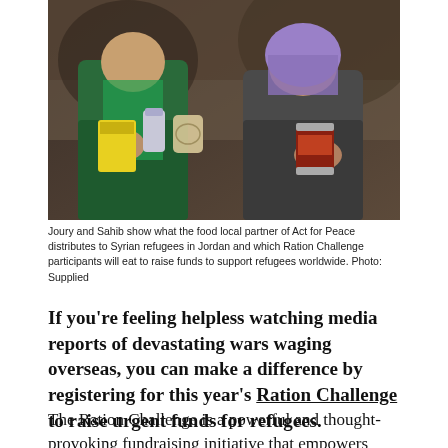[Figure (photo): Two people (Joury and Sahib) holding up food items including a yellow box, a small bag, and a tin can, photographed against a tent background.]
Joury and Sahib show what the food local partner of Act for Peace distributes to Syrian refugees in Jordan and which Ration Challenge participants will eat to raise funds to support refugees worldwide. Photo: Supplied
If you're feeling helpless watching media reports of devastating wars waging overseas, you can make a difference by registering for this year's Ration Challenge to raise urgent funds for refugees.
The Ration Challenge is a powerful and thought-provoking fundraising initiative that empowers Australians to stand in solidarity with those who are